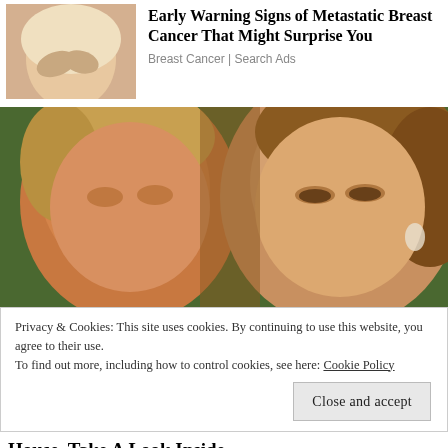[Figure (photo): Ad image showing a person holding their midsection, partial torso view]
Early Warning Signs of Metastatic Breast Cancer That Might Surprise You
Breast Cancer | Search Ads
[Figure (photo): Close-up photo of two people's faces, a man on the left and a woman on the right]
Privacy & Cookies: This site uses cookies. By continuing to use this website, you agree to their use.
To find out more, including how to control cookies, see here: Cookie Policy
Close and accept
House, Take A Look Inside